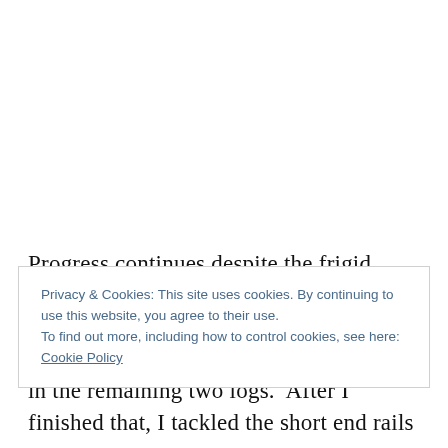Progress continues despite the frigid weather.  My little oil-filled space heater is getting a real workout.  I started my day by chopping and sawing the joinery in the remaining two logs.  After I finished that, I tackled the short end rails
Privacy & Cookies: This site uses cookies. By continuing to use this website, you agree to their use.
To find out more, including how to control cookies, see here: Cookie Policy
Close and accept